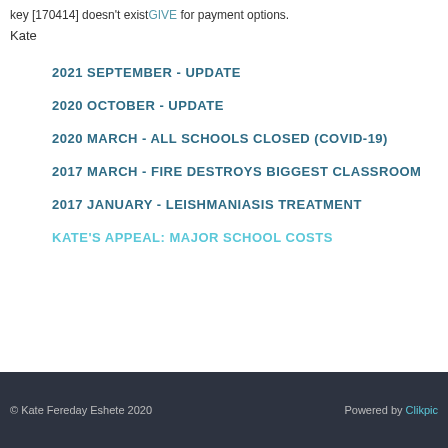key [170414] doesn't existGIVE for payment options.
Kate
2021 SEPTEMBER - UPDATE
2020 OCTOBER - UPDATE
2020 MARCH - ALL SCHOOLS CLOSED (COVID-19)
2017 MARCH - FIRE DESTROYS BIGGEST CLASSROOM
2017 JANUARY - LEISHMANIASIS TREATMENT
KATE'S APPEAL: MAJOR SCHOOL COSTS
© Kate Fereday Eshete 2020   Powered by Clikpic